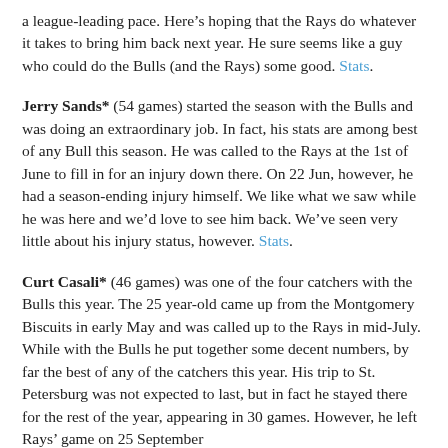a league-leading pace. Here's hoping that the Rays do whatever it takes to bring him back next year. He sure seems like a guy who could do the Bulls (and the Rays) some good. Stats.
Jerry Sands* (54 games) started the season with the Bulls and was doing an extraordinary job. In fact, his stats are among best of any Bull this season. He was called to the Rays at the 1st of June to fill in for an injury down there. On 22 Jun, however, he had a season-ending injury himself. We like what we saw while he was here and we'd love to see him back. We've seen very little about his injury status, however. Stats.
Curt Casali* (46 games) was one of the four catchers with the Bulls this year. The 25 year-old came up from the Montgomery Biscuits in early May and was called up to the Rays in mid-July. While with the Bulls he put together some decent numbers, by far the best of any of the catchers this year. His trip to St. Petersburg was not expected to last, but in fact he stayed there for the rest of the year, appearing in 30 games. However, he left Rays' game on 25 September